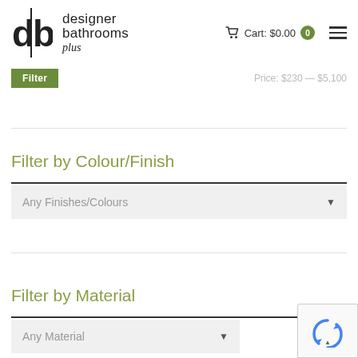designer bathrooms plus — Cart: $0.00 (0 items)
Filter   Price: $230 — $5,100
Filter by Colour/Finish
Any Finishes/Colours
Filter by Material
Any Material